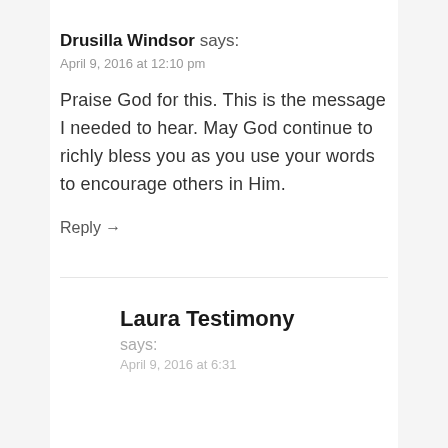Drusilla Windsor says:
April 9, 2016 at 12:10 pm
Praise God for this. This is the message I needed to hear. May God continue to richly bless you as you use your words to encourage others in Him.
Reply →
Laura Testimony says:
April 9, 2016 at 6:31